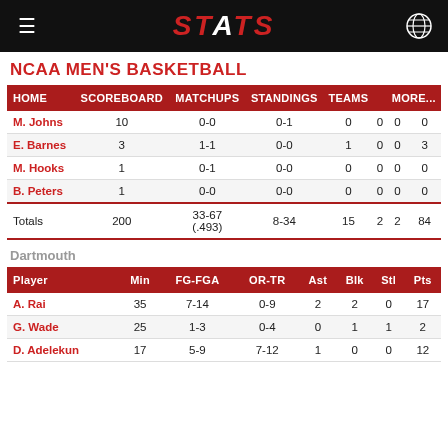STATS
NCAA MEN'S BASKETBALL
| HOME | SCOREBOARD | MATCHUPS | STANDINGS | TEAMS |  | MORE... |
| --- | --- | --- | --- | --- | --- | --- |
| M. Johns | 10 | 0-0 | 0-1 | 0 | 0 | 0 | 0 |
| E. Barnes | 3 | 1-1 | 0-0 | 1 | 0 | 0 | 3 |
| M. Hooks | 1 | 0-1 | 0-0 | 0 | 0 | 0 | 0 |
| B. Peters | 1 | 0-0 | 0-0 | 0 | 0 | 0 | 0 |
| Totals | 200 | 33-67 (.493) | 8-34 | 15 | 2 | 2 | 84 |
Dartmouth
| Player | Min | FG-FGA | OR-TR | Ast | Blk | Stl | Pts |
| --- | --- | --- | --- | --- | --- | --- | --- |
| A. Rai | 35 | 7-14 | 0-9 | 2 | 2 | 0 | 17 |
| G. Wade | 25 | 1-3 | 0-4 | 0 | 1 | 1 | 2 |
| D. Adelekun | 17 | 5-9 | 7-12 | 1 | 0 | 0 | 12 |